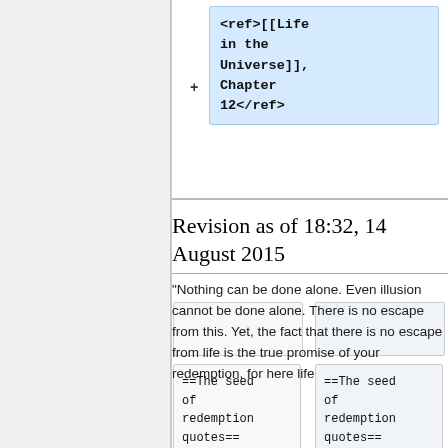[Figure (screenshot): Wikipedia diff view showing two columns. Top portion shows a highlighted added line with code: <ref>[[Life in the Universe]], Chapter 12</ref> with a + marker. Below are two pairs of boxes: an empty pair and a pair containing ==The seed of redemption quotes==]
Revision as of 18:32, 14 August 2015
"Nothing can be done alone. Even illusion cannot be done alone. There is no escape from this. Yet, the fact that there is no escape from life is the true promise of your redemption, for here life